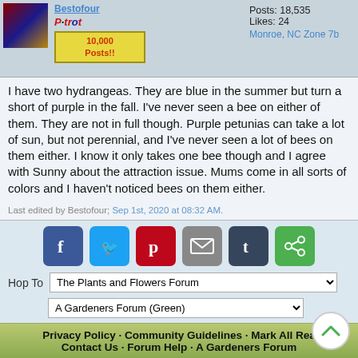Bestofour · P·tr·ot · 10,000 Posts!! · Joined: Aug 2008 · Posts: 18,535 · Likes: 24 · Monroe, NC Zone 7b
I have two hydrangeas. They are blue in the summer but turn a short of purple in the fall. I've never seen a bee on either of them. They are not in full though. Purple petunias can take a lot of sun, but not perennial, and I've never seen a lot of bees on them either. I know it only takes one bee though and I agree with Sunny about the attraction issue. Mums come in all sorts of colors and I haven't noticed bees on them either.
Last edited by Bestofour; Sep 1st, 2020 at 08:32 AM.
[Figure (infographic): Social sharing buttons: Facebook, Twitter, Pinterest, Email, Tumblr, Share]
Hop To   The Plants and Flowers Forum
A Gardeners Forum (Green)
Privacy Policy · Community Guidelines · Mark All Read Contact Us · Forum Help · A Gardeners Forum